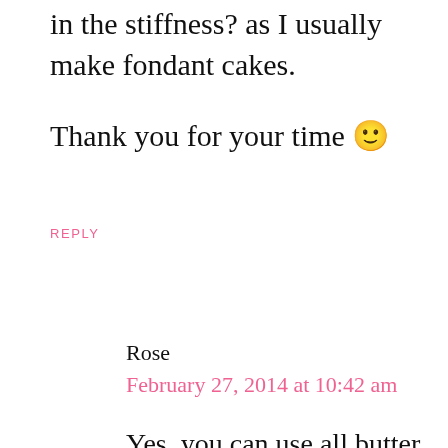in the stiffness? as I usually make fondant cakes.
Thank you for your time 🙂
REPLY
Rose
February 27, 2014 at 10:42 am
Yes, you can use all butter BUT shortening is more stable and less sensitive to temperature changes than butter. 'All butter' frostings certainly tastes better, but decorating with an all-butter frosting